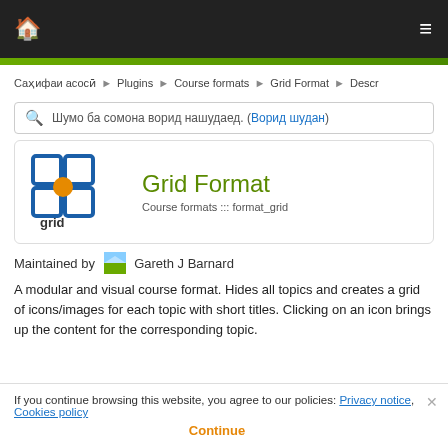🏠  ≡
Саҳифаи асосӣ ▶ Plugins ▶ Course formats ▶ Grid Format ▶ Descr
Шумо ба сомона ворид нашудаед. (Ворид шудан)
Grid Format
Course formats ::: format_grid
Maintained by  Gareth J Barnard
A modular and visual course format. Hides all topics and creates a grid of icons/images for each topic with short titles. Clicking on an icon brings up the content for the corresponding topic.
If you continue browsing this website, you agree to our policies: Privacy notice, Cookies policy
Continue